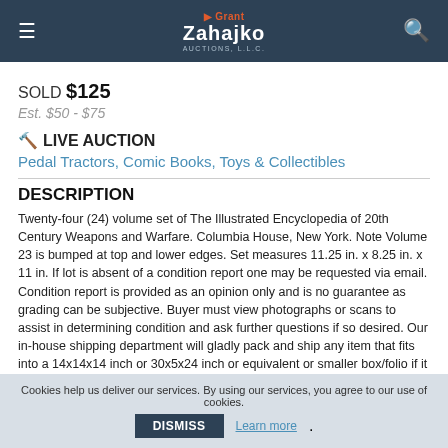Grant Zahajko Auctions, LLC
SOLD $125
Est. $50 - $75
🔨 LIVE AUCTION
Pedal Tractors, Comic Books, Toys & Collectibles
DESCRIPTION
Twenty-four (24) volume set of The Illustrated Encyclopedia of 20th Century Weapons and Warfare. Columbia House, New York. Note Volume 23 is bumped at top and lower edges. Set measures 11.25 in. x 8.25 in. x 11 in. If lot is absent of a condition report one may be requested via email. Condition report is provided as an opinion only and is no guarantee as grading can be subjective. Buyer must view photographs or scans to assist in determining condition and ask further questions if so desired. Our in-house shipping department will gladly pack and ship any item that fits into a 14x14x14 inch or 30x5x24 inch or equivalent or smaller box/folio if it is not fragile or over 25lbs. We will
Cookies help us deliver our services. By using our services, you agree to our use of cookies. DISMISS Learn more.